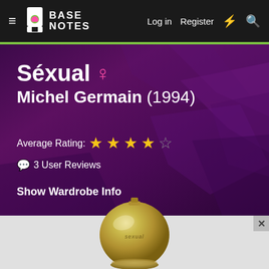≡  BASE NOTES  Log in  Register  ⚡  🔍
Séxual ♀ Michel Germain (1994)
Average Rating: ★★★☆☆
💬 3 User Reviews
Show Wardrobe Info
[Figure (photo): Product photo of Séxual by Michel Germain perfume bottle — a golden sphere-shaped bottle with the word 'sexual' inscribed on it, shown against a grey background]